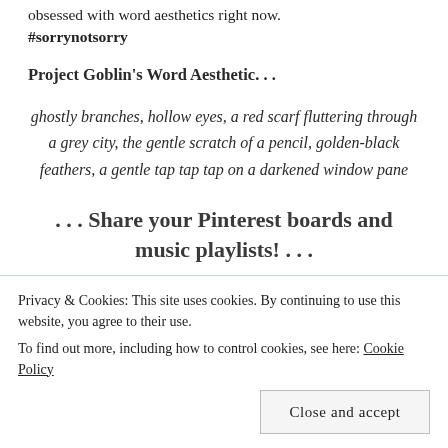obsessed with word aesthetics right now. #sorrynotsorry
Project Goblin's Word Aesthetic. . .
ghostly branches, hollow eyes, a red scarf fluttering through a grey city, the gentle scratch of a pencil, golden-black feathers, a gentle tap tap tap on a darkened window pane
. . . Share your Pinterest boards and music playlists! . . .
Privacy & Cookies: This site uses cookies. By continuing to use this website, you agree to their use.
To find out more, including how to control cookies, see here: Cookie Policy
Close and accept